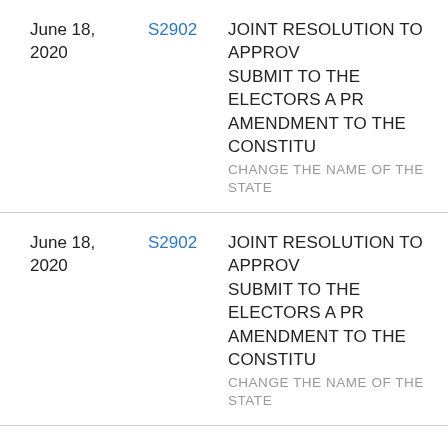June 18, 2020 | S2902 | JOINT RESOLUTION TO APPROVE AND SUBMIT TO THE ELECTORS A PROPOSED AMENDMENT TO THE CONSTITUTION — CHANGE THE NAME OF THE STATE
June 18, 2020 | S2902 | JOINT RESOLUTION TO APPROVE AND SUBMIT TO THE ELECTORS A PROPOSED AMENDMENT TO THE CONSTITUTION — CHANGE THE NAME OF THE STATE
June 18, 2020 | S2902 | JOINT RESOLUTION TO APPROVE AND SUBMIT TO THE ELECTORS A PROPOSED AMENDMENT TO THE CONSTITUTION — CHANGE THE NAME OF THE STATE
June 18, 2020 | S2867 | SENATE RESOLUTION CREATING A TASK FORCE TO REVIEW AND P RECOMMENDATIONS ON POLIC RHODE ISLAND LAW ENFORCE